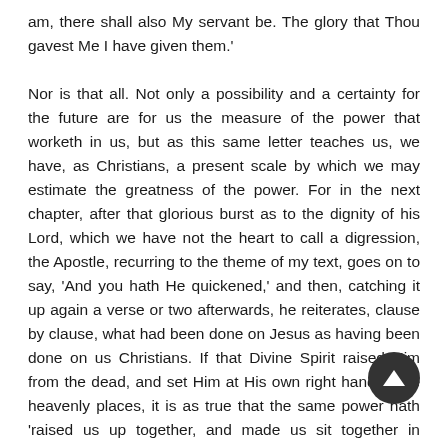am, there shall also My servant be. The glory that Thou gavest Me I have given them.' Nor is that all. Not only a possibility and a certainty for the future are for us the measure of the power that worketh in us, but as this same letter teaches us, we have, as Christians, a present scale by which we may estimate the greatness of the power. For in the next chapter, after that glorious burst as to the dignity of his Lord, which we have not the heart to call a digression, the Apostle, recurring to the theme of my text, goes on to say, 'And you hath He quickened,' and then, catching it up again a verse or two afterwards, he reiterates, clause by clause, what had been done on Jesus as having been done on us Christians. If that Divine Spirit raised Him from the dead, and set Him at His own right hand in the heavenly places, it is as true that the same power hath 'raised us up together, and made us sit together in heavenly places in Christ Jesus.' And so not only the far-off, though and brilliant, and eye and heart-filling glories of the ascended Christ give us the measure of the power, but also the limited